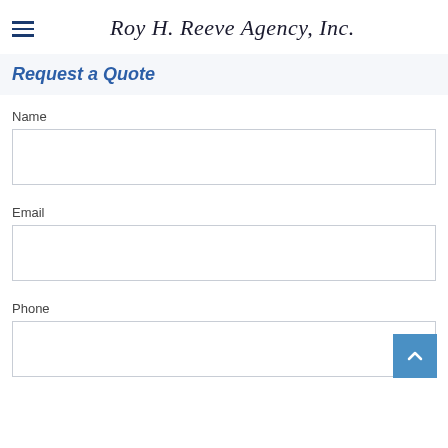Roy H. Reeve Agency, Inc.
Request a Quote
Name
Email
Phone